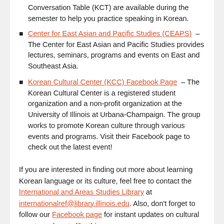Conversation Table (KCT) are available during the semester to help you practice speaking in Korean.
Center for East Asian and Pacific Studies (CEAPS) – The Center for East Asian and Pacific Studies provides lectures, seminars, programs and events on East and Southeast Asia.
Korean Cultural Center (KCC) Facebook Page – The Korean Cultural Center is a registered student organization and a non-profit organization at the University of Illinois at Urbana-Champaign. The group works to promote Korean culture through various events and programs. Visit their Facebook page to check out the latest event!
If you are interested in finding out more about learning Korean language or its culture, feel free to contact the International and Areas Studies Library at internationalref@library.illinois.edu. Also, don't forget to follow our Facebook page for instant updates on cultural events and posts like this one.